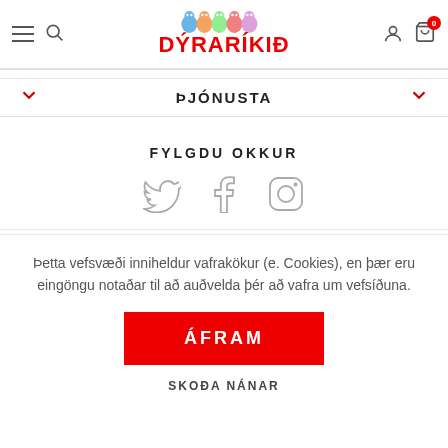[Figure (logo): Dýraríkið logo with colorful animals above red bold text]
ÞJÓNUSTA
FYLGDU OKKUR
[Figure (illustration): Social media icons: Twitter, Facebook, Instagram]
Þetta vefsvæði inniheldur vafrakökur (e. Cookies), en þær eru eingöngu notaðar til að auðvelda þér að vafra um vefsíðuna.
ÁFRAM
SKOÐA NÁNAR